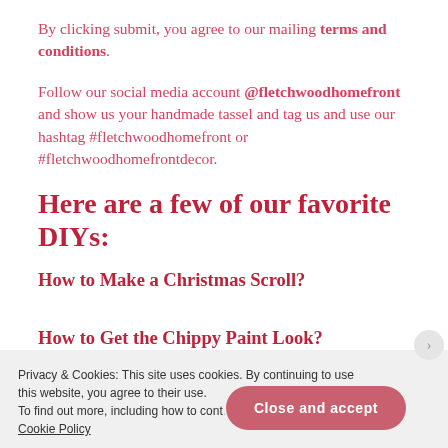By clicking submit, you agree to our mailing terms and conditions.
Follow our social media account @fletchwoodhomefront and show us your handmade tassel and tag us and use our hashtag #fletchwoodhomefront or #fletchwoodhomefrontdecor.
Here are a few of our favorite DIYs:
How to Make a Christmas Scroll?
How to Get the Chippy Paint Look?
Privacy & Cookies: This site uses cookies. By continuing to use this website, you agree to their use. To find out more, including how to cont… Cookie Policy
Close and accept